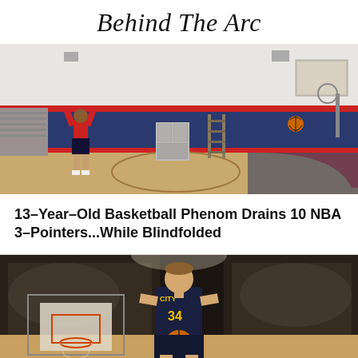Behind The Arc
[Figure (photo): A person in a red shirt shooting a basketball in an indoor gym with blue and red padded walls, bleachers on the left, a ladder and storage cabinet in the background, and a basketball hoop visible on the right.]
13-Year-Old Basketball Phenom Drains 10 NBA 3-Pointers...While Blindfolded
[Figure (photo): A basketball player wearing a dark City 34 jersey holding a basketball at chest height in front of a packed arena crowd, with a basketball hoop visible on the left side.]